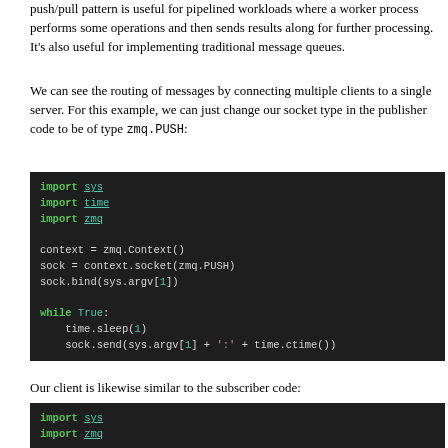push/pull pattern is useful for pipelined workloads where a worker process performs some operations and then sends results along for further processing. It's also useful for implementing traditional message queues.
We can see the routing of messages by connecting multiple clients to a single server. For this example, we can just change our socket type in the publisher code to be of type zmq.PUSH:
[Figure (screenshot): Python code block on dark background showing: import sys, import time, import zmq, context = zmq.Context(), sock = context.socket(zmq.PUSH), sock.bind(sys.argv[1]), while True:, time.sleep(1), sock.send(sys.argv[1] + ':' + time.ctime())]
Our client is likewise similar to the subscriber code:
[Figure (screenshot): Python code block on dark background showing: import sys, import zmq, context = zmq.Context(), sock = context.socket(zmq.PULL)]